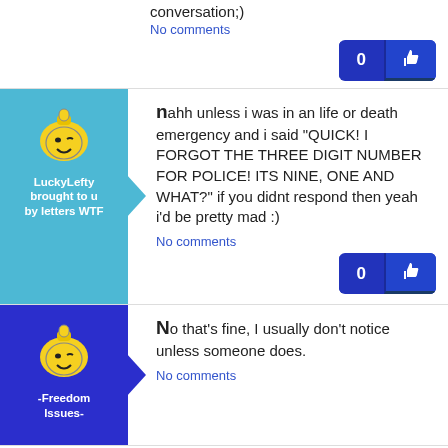conversation;)
No comments
[Figure (illustration): LuckyLefty avatar with teal background and arrow]
nahh unless i was in an life or death emergency and i said "QUICK! I FORGOT THE THREE DIGIT NUMBER FOR POLICE! ITS NINE, ONE AND WHAT?" if you didnt respond then yeah i'd be pretty mad :)
No comments
[Figure (illustration): -Freedom Issues- avatar with blue background and arrow]
No that's fine, I usually don't notice unless someone does.
No comments